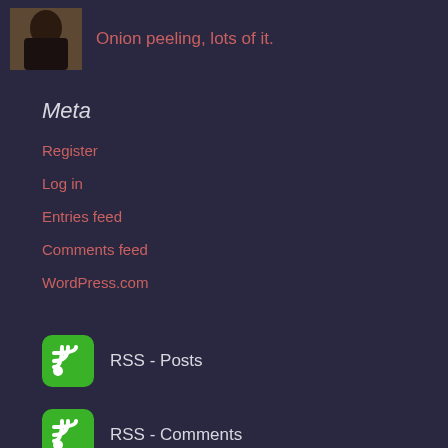Onion peeling, lots of it.
Meta
Register
Log in
Entries feed
Comments feed
WordPress.com
RSS - Posts
RSS - Comments